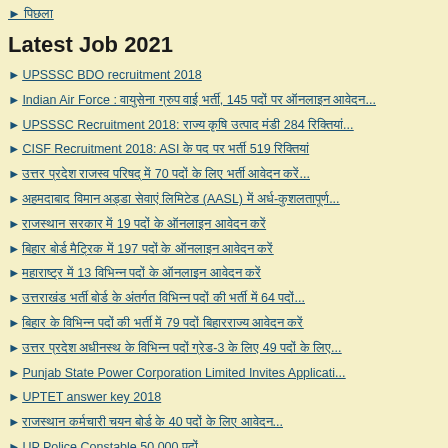► पिछला
Latest Job 2021
► UPSSSC BDO recruitment 2018
► Indian Air Force : वायुसेना ग्रुप वाई भर्ती, 145 पदों पर ऑनलाइन आवेदन...
► UPSSSC Recruitment 2018: राज्य कृषि उत्पाद मंडी 284 रिक्तियां...
► CISF Recruitment 2018: ASI के पद पर भर्ती 519 रिक्तियां
► उत्तर प्रदेश राजस्व परिषद् में 70 पदों के लिए भर्ती आवेदन करें...
► अहमदाबाद विमान अड्डा सेवाएं लिमिटेड (AASL) में अर्ध-कुशलतापूर्ण...
► राजस्थान सरकार में 19 पदों के ऑनलाइन आवेदन करें
► बिहार बोर्ड मैट्रिक में 197 पदों के ऑनलाइन आवेदन करें
► महाराष्ट्र में 13 विभिन्न पदों के ऑनलाइन आवेदन करें
► उत्तराखंड भर्ती बोर्ड के अंतर्गत विभिन्न पदों की भर्ती में 64 पदों...
► बिहार के विभिन्न पदों की भर्ती में 79 पदों बिहारराज्य आवेदन करें
► उत्तर प्रदेश अधीनस्थ के विभिन्न पदों ग्रेड-3 के लिए 49 पदों के लिए...
► Punjab State Power Corporation Limited Invites Applicati...
► UPTET answer key 2018
► राजस्थान कर्मचारी चयन बोर्ड के 40 पदों के लिए आवेदन...
► UP Police Constable 50,000 पदों
► उत्तराखंड जल संस्थान भर्ती में आवेदन के लिए यहाँ क्लिक करें
► Delhi High Court Judicial Service Online Form 2018